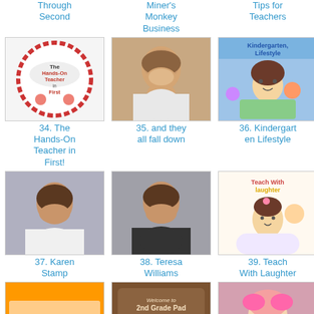Through Second
Miner's Monkey Business
Tips for Teachers
[Figure (photo): Logo: The Hands-On Teacher in First - circular badge with red border]
34. The Hands-On Teacher in First!
[Figure (photo): Photo of a woman with dark hair]
35. and they all fall down
[Figure (illustration): Kindergarten Lifestyle logo with cartoon girl and colorful background]
36. Kindergarten Lifestyle
[Figure (photo): Photo of a woman with dark hair and glasses]
37. Karen Stamp
[Figure (photo): Photo of a woman with glasses and dark hair]
38. Teresa Williams
[Figure (illustration): Teach With Laughter logo with cartoon girl]
39. Teach With Laughter
[Figure (illustration): Crayonbox Learning logo with colorful crayons]
40. Crayonbox Learning
[Figure (illustration): 2nd Grade Pad welcome sign with frog and mushroom]
41. 2nd Grade Pad
[Figure (photo): Photo of a young girl with pink bow]
42. Pirate Girl's Education